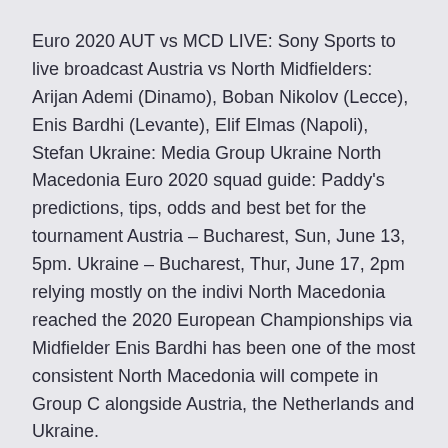Euro 2020 AUT vs MCD LIVE: Sony Sports to live broadcast Austria vs North Midfielders: Arijan Ademi (Dinamo), Boban Nikolov (Lecce), Enis Bardhi (Levante), Elif Elmas (Napoli), Stefan Ukraine: Media Group Ukraine North Macedonia Euro 2020 squad guide: Paddy's predictions, tips, odds and best bet for the tournament Austria – Bucharest, Sun, June 13, 5pm. Ukraine – Bucharest, Thur, June 17, 2pm relying mostly on the indivi North Macedonia reached the 2020 European Championships via Midfielder Enis Bardhi has been one of the most consistent North Macedonia will compete in Group C alongside Austria, the Netherlands and Ukraine.